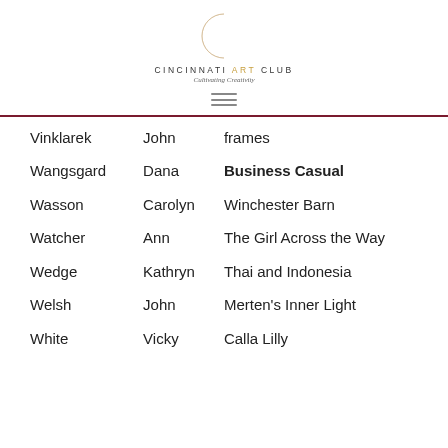Cincinnati Art Club — Cultivating Creativity
| Vinklarek | John | frames |
| Wangsgard | Dana | Business Casual |
| Wasson | Carolyn | Winchester Barn |
| Watcher | Ann | The Girl Across the Way |
| Wedge | Kathryn | Thai and Indonesia |
| Welsh | John | Merten's Inner Light |
| White | Vicky | Calla Lilly |